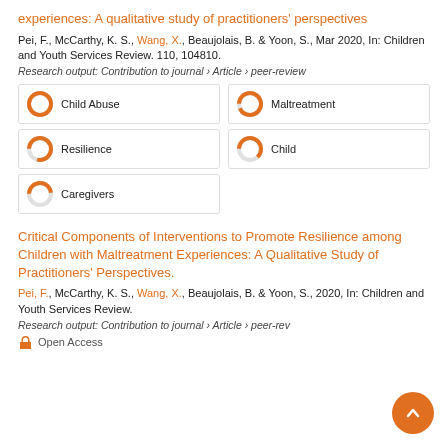experiences: A qualitative study of practitioners' perspectives
Pei, F., McCarthy, K. S., Wang, X., Beaujolais, B. & Yoon, S., Mar 2020, In: Children and Youth Services Review. 110, 104810.
Research output: Contribution to journal › Article › peer-review
[Figure (infographic): Four keyword badges with donut-style percentage indicators: Child Abuse 100%, Maltreatment 93%, Resilience 79%, Child 63%, Caregivers 48%]
Critical Components of Interventions to Promote Resilience among Children with Maltreatment Experiences: A Qualitative Study of Practitioners' Perspectives.
Pei, F., McCarthy, K. S., Wang, X., Beaujolais, B. & Yoon, S., 2020, In: Children and Youth Services Review.
Research output: Contribution to journal › Article › peer-review
Open Access